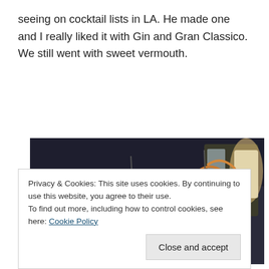seeing on cocktail lists in LA. He made one and I really liked it with Gin and Gran Classico. We still went with sweet vermouth.
[Figure (photo): Close-up photo of a large sandwich or burger on a plate with curly fries, with a candle and glassware visible in the background at a restaurant table.]
Privacy & Cookies: This site uses cookies. By continuing to use this website, you agree to their use.
To find out more, including how to control cookies, see here: Cookie Policy
Close and accept